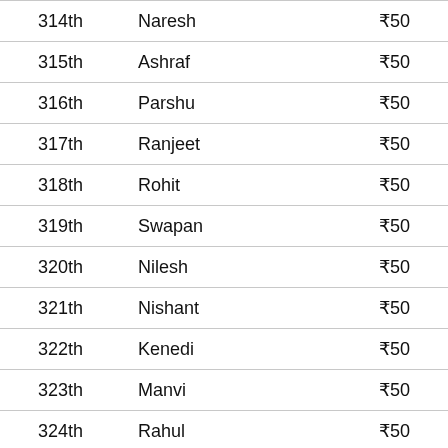| Rank | Name | Amount |
| --- | --- | --- |
| 314th | Naresh | ₹50 |
| 315th | Ashraf | ₹50 |
| 316th | Parshu | ₹50 |
| 317th | Ranjeet | ₹50 |
| 318th | Rohit | ₹50 |
| 319th | Swapan | ₹50 |
| 320th | Nilesh | ₹50 |
| 321th | Nishant | ₹50 |
| 322th | Kenedi | ₹50 |
| 323th | Manvi | ₹50 |
| 324th | Rahul | ₹50 |